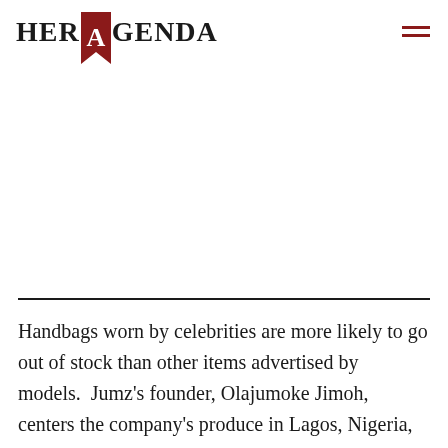HER AGENDA
Handbags worn by celebrities are more likely to go out of stock than other items advertised by models.  Jumz's founder, Olajumoke Jimoh, centers the company's produce in Lagos, Nigeria,